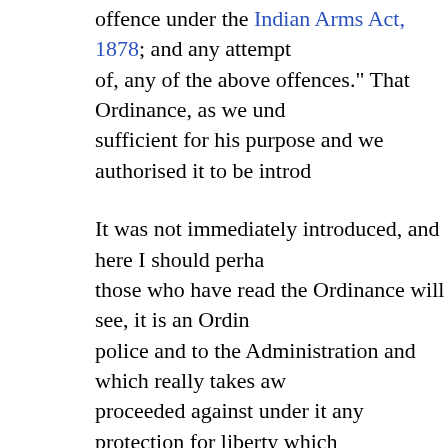offence under the Indian Arms Act, 1878; and any attempt of, any of the above offences." That Ordinance, as we understood sufficient for his purpose and we authorised it to be introduced It was not immediately introduced, and here I should perhaps those who have read the Ordinance will see, it is an Ordinance police and to the Administration and which really takes away proceeded against under it any protection for liberty which jurisdiction has established for ourselves. I should like to concisely—the words in which Blackstone has indicated bereave a man of life, or by violence to confiscate his estate gross and notorious an act of despotism as must at once whole kingdom. But confinement of the person"—" that is secretly hurrying him to gaol, where his sufferings are unknown striking, and therefore a more dangerous engine of arbitrary the State is in real danger, even this may be a necessary Constitution is, that it is not left to the executive power to great as to render this measure expedient. For it is the Parliament whenever it sees proper, can authorise the Crown, by suspending and limited time, to imprison suspected persons without giving